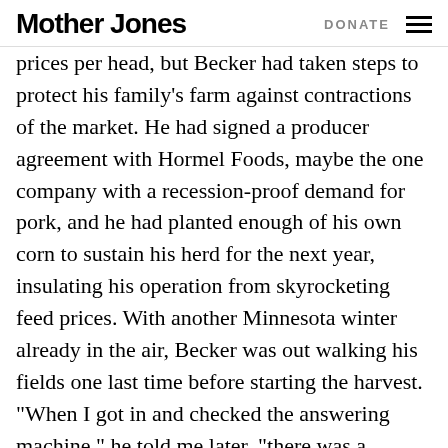Mother Jones | DONATE
prices per head, but Becker had taken steps to protect his family's farm against contractions of the market. He had signed a producer agreement with Hormel Foods, maybe the one company with a recession-proof demand for pork, and he had planted enough of his own corn to sustain his herd for the next year, insulating his operation from skyrocketing feed prices. With another Minnesota winter already in the air, Becker was out walking his fields one last time before starting the harvest. “When I got in and checked the answering machine,” he told me later, “there was a message from Matt Prescott with PETA.” Becker was soft-spoken but bristled with nervous energy. His jitters, together with his work-honed physique and fair